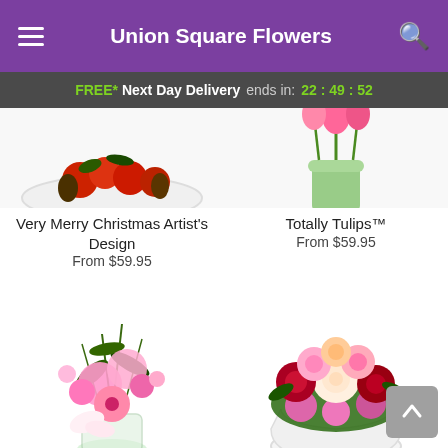Union Square Flowers
FREE* Next Day Delivery ends in: 22:49:52
[Figure (photo): Christmas flower arrangement in a white bowl with red carnations and pine cones, partially cropped at top]
[Figure (photo): Tulips arrangement in a light green vase, partially cropped at top]
Very Merry Christmas Artist's Design
From $59.95
Totally Tulips™
From $59.95
[Figure (photo): Pink flower bouquet with lilies, gerberas, carnations and greenery in a clear glass vase]
[Figure (photo): Mixed red and pink rose arrangement in a round white glass bowl]